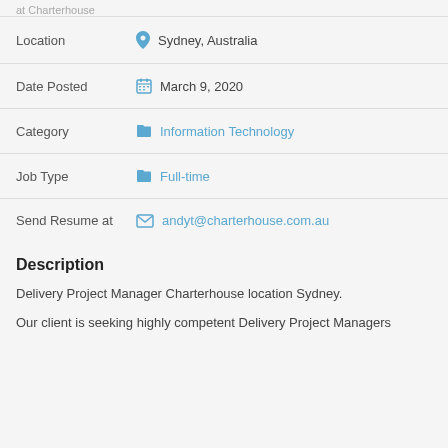at Charterhouse
Location: Sydney, Australia
Date Posted: March 9, 2020
Category: Information Technology
Job Type: Full-time
Send Resume at: andyt@charterhouse.com.au
Description
Delivery Project Manager Charterhouse location Sydney.
Our client is seeking highly competent Delivery Project Managers